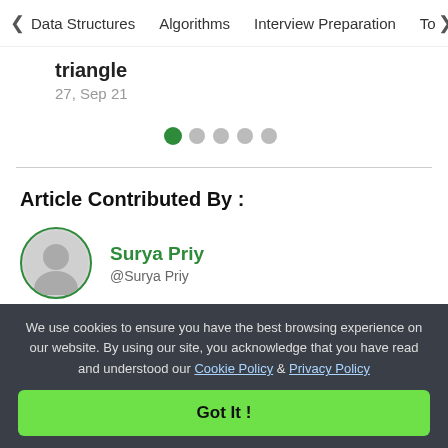< Data Structures   Algorithms   Interview Preparation   To>
triangle
27, Sep 21
[Figure (other): Carousel pagination dots, first dot is active green, followed by 5 grey dots]
Article Contributed By :
[Figure (photo): Author avatar: circular profile picture with green border showing a generic grey silhouette of a person]
Surya Priy
@Surya Priy
We use cookies to ensure you have the best browsing experience on our website. By using our site, you acknowledge that you have read and understood our Cookie Policy & Privacy Policy
Got It !